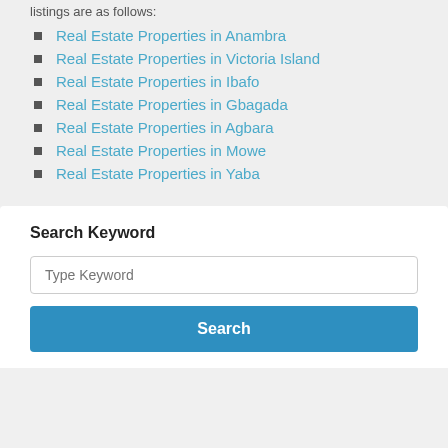listings are as follows:
Real Estate Properties in Anambra
Real Estate Properties in Victoria Island
Real Estate Properties in Ibafo
Real Estate Properties in Gbagada
Real Estate Properties in Agbara
Real Estate Properties in Mowe
Real Estate Properties in Yaba
Search Keyword
Type Keyword
Search